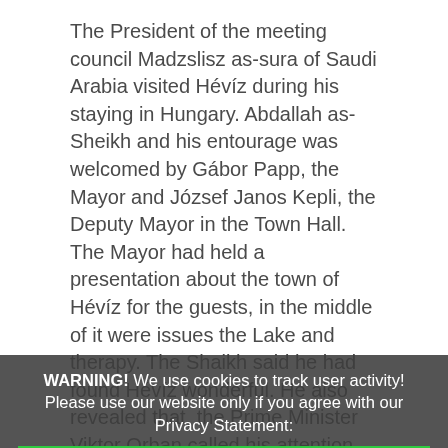The President of the meeting council Madzslisz as-sura of Saudi Arabia visited Hévíz during his staying in Hungary. Abdallah as-Sheikh and his entourage was welcomed by Gábor Papp, the Mayor and József Janos Kepli, the Deputy Mayor in the Town Hall. The Mayor had held a presentation about the town of Hévíz for the guests, in the middle of it were issues the Lake and therapy. The Shaikh said he had found Hévíz wonderful. He also revealed that, the Prime Minister Viktor Orban called his attention up to this Hungarian spa town featured with special conditions. Therefore, after having drawn up their programmes in Hungary they paid special attention to Hévíz. The Shaikh showed a keen interest about the offers of the hotels and thermal treatments, as well as about the investments opportunities. The Mayor informed him that soon there would an investment recommendation be ready, which includes the investment opportunities of Hévíz and its nearby area, which of ... Sheikh said that Prime Minister Viktor Orbán's last year's visit to Saudi Arabia had given impetous to the ties between the two countries. This ye... i-Hungarian economic... ad... ref...
WARNING! We use cookies to track user activity! Please use our website only if you agree with our Privacy Statement: [I accept Privacy Statement] [I do not accept the Privacy Statement] [Privacy Statement]